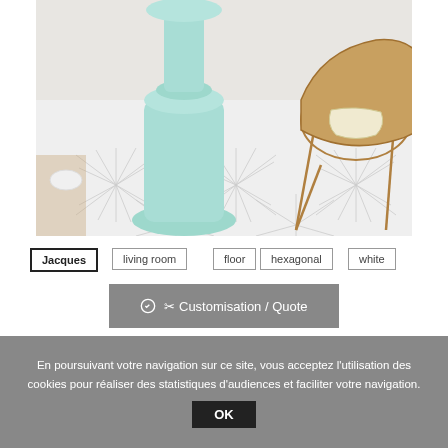[Figure (photo): Interior room photo showing geometric white hexagonal patterned tiles on the floor, with a mint/light teal pedestal lamp and a rattan chair visible.]
Jacques
living room
floor
hexagonal
white
✂ Customisation / Quote
En poursuivant votre navigation sur ce site, vous acceptez l'utilisation des cookies pour réaliser des statistiques d'audiences et faciliter votre navigation.
OK